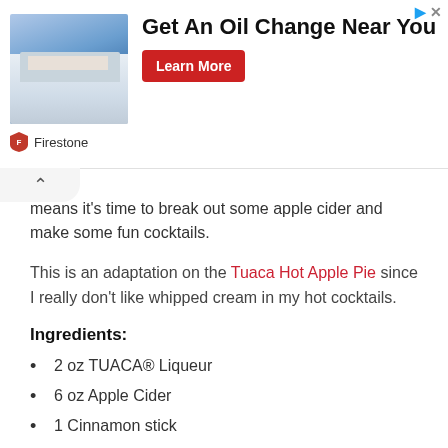[Figure (screenshot): Firestone advertisement banner: building photo on left, 'Get An Oil Change Near You' headline in bold, red 'Learn More' button, Firestone shield logo and brand name at bottom]
means it's time to break out some apple cider and make some fun cocktails.
This is an adaptation on the Tuaca Hot Apple Pie since I really don't like whipped cream in my hot cocktails.
Ingredients:
2 oz TUACA® Liqueur
6 oz Apple Cider
1 Cinnamon stick
Directions:
Heat the apple cider in a pot on the stove.